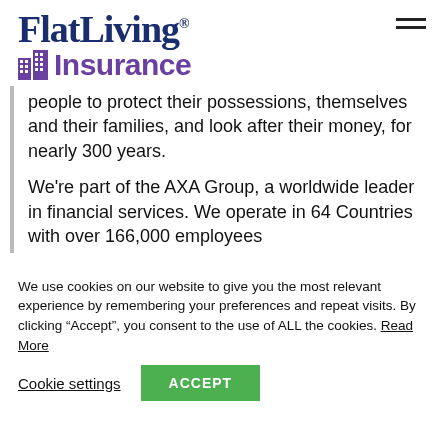[Figure (logo): FlatLiving Insurance logo with building icon. 'FlatLiving' in dark navy serif bold with registered trademark symbol, 'Insurance' in purple bold with a building/apartment icon on the left.]
people to protect their possessions, themselves and their families, and look after their money, for nearly 300 years.
We're part of the AXA Group, a worldwide leader in financial services. We operate in 64 Countries with over 166,000 employees
We use cookies on our website to give you the most relevant experience by remembering your preferences and repeat visits. By clicking “Accept”, you consent to the use of ALL the cookies. Read More
Cookie settings    ACCEPT